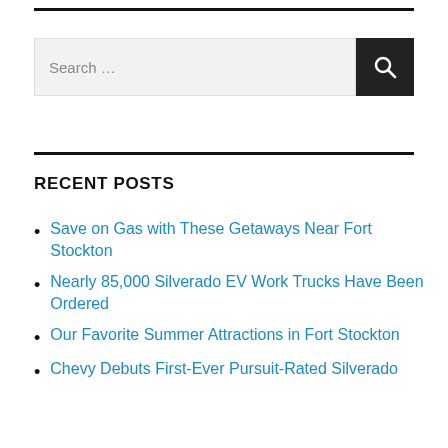[Figure (other): Search bar with text input field showing placeholder 'Search ...' and a dark search button with magnifying glass icon]
RECENT POSTS
Save on Gas with These Getaways Near Fort Stockton
Nearly 85,000 Silverado EV Work Trucks Have Been Ordered
Our Favorite Summer Attractions in Fort Stockton
Chevy Debuts First-Ever Pursuit-Rated Silverado